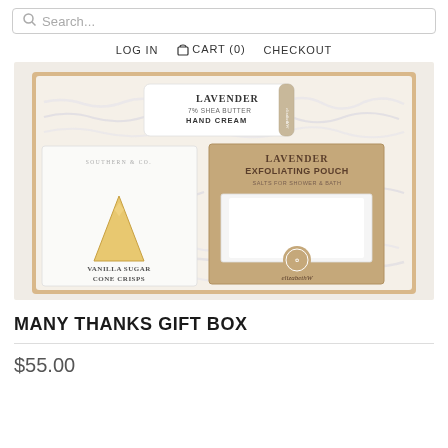Search...
LOG IN  CART (0)  CHECKOUT
[Figure (photo): Open kraft cardboard gift box filled with white paper shred, containing: Lavender 7% Shea Butter Hand Cream tube, Lavender Exfoliating Pouch box by elizabethW, and Vanilla Sugar Cone Crisps box]
MANY THANKS GIFT BOX
$55.00